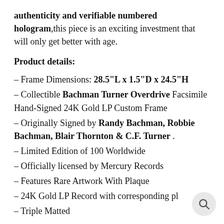authenticity and verifiable numbered hologram,this piece is an exciting investment that will only get better with age.
Product details:
– Frame Dimensions: 28.5"L x 1.5"D x 24.5"H
– Collectible Bachman Turner Overdrive Facsimile Hand-Signed 24K Gold LP Custom Frame
– Originally Signed by Randy Bachman, Robbie Bachman, Blair Thornton & C.F. Turner .
– Limited Edition of 100 Worldwide
– Officially licensed by Mercury Records
– Features Rare Artwork With Plaque
– 24K Gold LP Record with corresponding pl
– Triple Matted